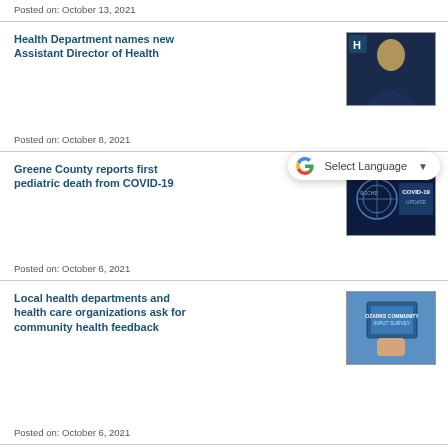Posted on: October 13, 2021
Health Department names new Assistant Director of Health
Posted on: October 8, 2021
[Figure (photo): Portrait photo of a woman with blonde hair against a dark background]
Greene County reports first pediatric death from COVID-19
Posted on: October 6, 2021
[Figure (photo): SGCHD COVID-19 UPDATE graphic with dark blue background]
Local health departments and health care organizations ask for community health feedback
Posted on: October 6, 2021
[Figure (photo): OZARKS COMMUNITY INPUT SURVEY graphic showing tablet device]
Health Department to open COVID-19 vaccination site to meet the increase in demand
Posted on: October 5, 2021
[Figure (photo): SGCHD COVID-19 NEWS graphic with dark blue background]